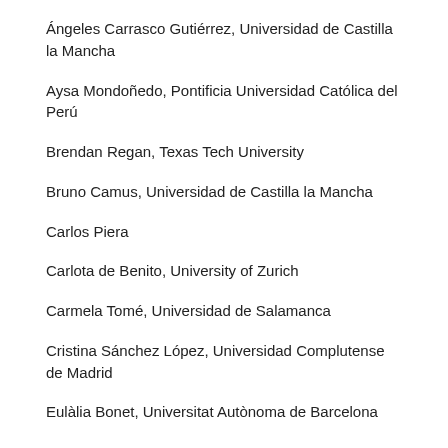Ángeles Carrasco Gutiérrez, Universidad de Castilla la Mancha
Aysa Mondoñedo, Pontificia Universidad Católica del Perú
Brendan Regan, Texas Tech University
Bruno Camus, Universidad de Castilla la Mancha
Carlos Piera
Carlota de Benito, University of Zurich
Carmela Tomé, Universidad de Salamanca
Cristina Sánchez López, Universidad Complutense de Madrid
Eulàlia Bonet, Universitat Autònoma de Barcelona